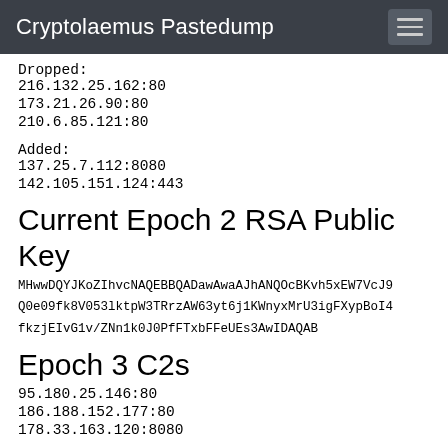Cryptolaemus Pastedump
Dropped:
216.132.25.162:80
173.21.26.90:80
210.6.85.121:80
Added:
137.25.7.112:8080
142.105.151.124:443
Current Epoch 2 RSA Public Key
MHwwDQYJKoZIhvcNAQEBBQADawAwaAJhANQOcBKvh5xEW7VcJ9Q0e09fk8V053lktpW3TRrzAW63yt6j1KWnyxMrU3igFXypBoI4fkzjEIvG1v/ZNn1k0J0PfFTxbFFeUEs3AwIDAQAB
Epoch 3 C2s
95.180.25.146:80
186.188.152.177:80
178.33.163.120:8080